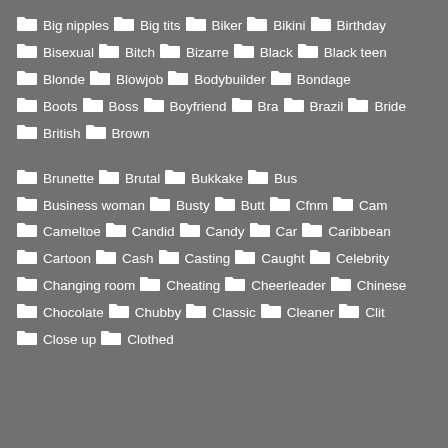Big nipples, Big tits, Biker, Bikini, Birthday
Bisexual, Bitch, Bizarre, Black, Black teen
Blonde, Blowjob, Bodybuilder, Bondage
Boots, Boss, Boyfriend, Bra, Brazil, Bride
British, Brown
Brunette, Brutal, Bukkake, Bus
Business woman, Busty, Butt, Cfnm, Cam
Cameltoe, Candid, Candy, Car, Caribbean
Cartoon, Cash, Casting, Caught, Celebrity
Changing room, Cheating, Cheerleader, Chinese
Chocolate, Chubby, Classic, Cleaner, Clit
Close up, Clothed